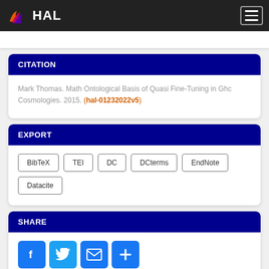HAL
CITATION
Mark Thomas. Math Ontological Basis of Quasi Fine-Tuning in Ghc Cosmologies. 2015. (hal-01232022v5)
EXPORT
BibTeX
TEI
DC
DCterms
EndNote
Datacite
SHARE